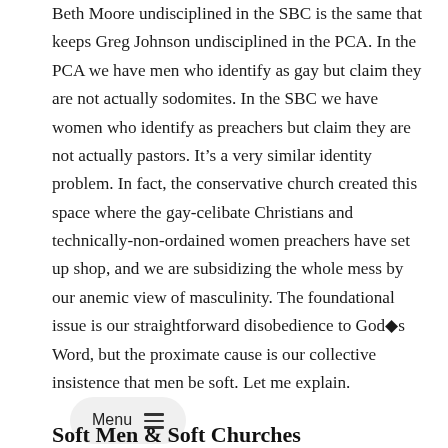Beth Moore undisciplined in the SBC is the same that keeps Greg Johnson undisciplined in the PCA. In the PCA we have men who identify as gay but claim they are not actually sodomites. In the SBC we have women who identify as preachers but claim they are not actually pastors. It's a very similar identity problem. In fact, the conservative church created this space where the gay-celibate Christians and technically-non-ordained women preachers have set up shop, and we are subsidizing the whole mess by our anemic view of masculinity. The foundational issue is our straightforward disobedience to God◆s Word, but the proximate cause is our collective insistence that men be soft. Let me explain.
Soft Men & Soft Churches